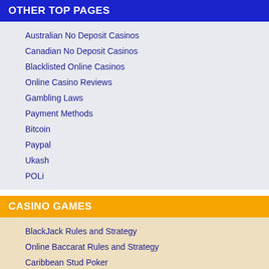OTHER TOP PAGES
Australian No Deposit Casinos
Canadian No Deposit Casinos
Blacklisted Online Casinos
Online Casino Reviews
Gambling Laws
Payment Methods
Bitcoin
Paypal
Ukash
POLi
CASINO GAMES
BlackJack Rules and Strategy
Online Baccarat Rules and Strategy
Caribbean Stud Poker
Craps Rules and Strategy
Keno Rules and Strategy